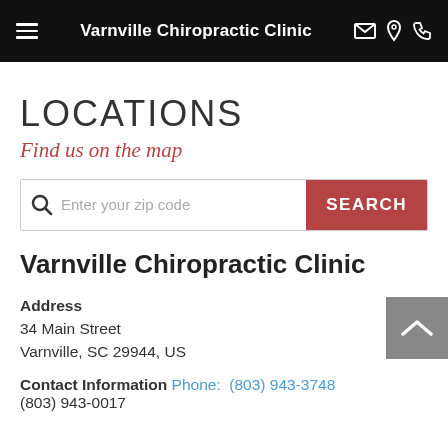Varnville Chiropractic Clinic
LOCATIONS
Find us on the map
Enter your zip code  SEARCH
Varnville Chiropractic Clinic
Address
34 Main Street
Varnville, SC 29944, US
Contact Information  Phone:  (803) 943-3748
(803) 943-0017